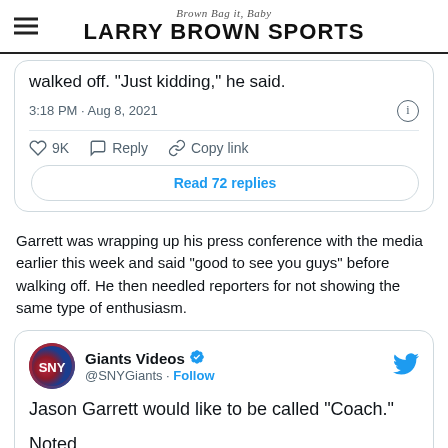Brown Bag it, Baby
LARRY BROWN SPORTS
walked off. "Just kidding," he said.
3:18 PM · Aug 8, 2021
9K   Reply   Copy link
Read 72 replies
Garrett was wrapping up his press conference with the media earlier this week and said “good to see you guys” before walking off. He then needled reporters for not showing the same type of enthusiasm.
[Figure (screenshot): Tweet from Giants Videos (@SNYGiants) with verified badge and Follow button. Tweet text: Jason Garrett would like to be called "Coach."

Noted.]